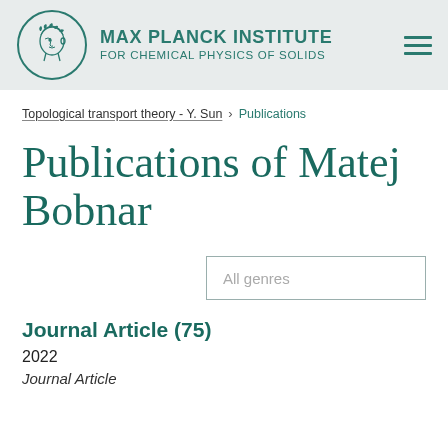MAX PLANCK INSTITUTE FOR CHEMICAL PHYSICS OF SOLIDS
Topological transport theory - Y. Sun > Publications
Publications of Matej Bobnar
All genres
Journal Article (75)
2022
Journal Article